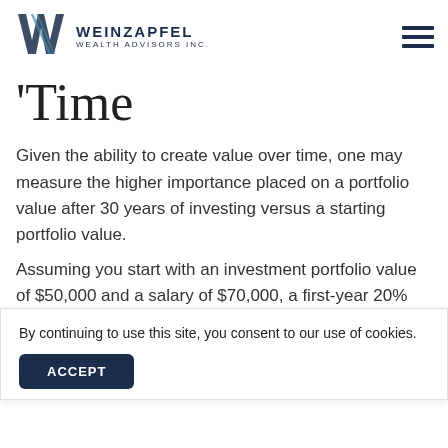WEINZAPFEL WEALTH ADVISORS INC.
Time
Given the ability to create value over time, one may measure the higher importance placed on a portfolio value after 30 years of investing versus a starting portfolio value.
Assuming you start with an investment portfolio value of $50,000 and a salary of $70,000, a first-year 20% re...
By continuing to use this site, you consent to our use of cookies.